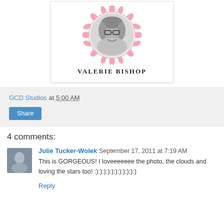[Figure (photo): Profile card showing a woman with glasses in a circular black-and-white photo with pink decorative border frame, with name VALERIE BISHOP below]
GCD Studios at 5:00 AM
Share
4 comments:
[Figure (photo): Small avatar thumbnail of a person]
Julie Tucker-Wolek September 17, 2011 at 7:19 AM
This is GORGEOUS! I loveeeeeee the photo, the clouds and loving the stars too! :):):):):):):):):):):)
Reply